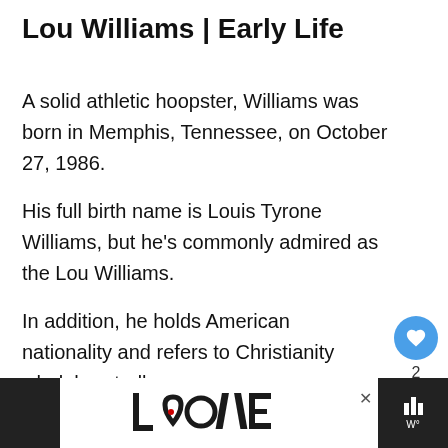Lou Williams | Early Life
A solid athletic hoopster, Williams was born in Memphis, Tennessee, on October 27, 1986.
His full birth name is Louis Tyrone Williams, but he's commonly admired as the Lou Williams.
In addition, he holds American nationality and refers to Christianity wholeheartedly.
Williams' was born to the late Willie Louis Willia and his supportive mother, Janice Faulkner.
[Figure (other): Bottom advertisement banner with LOVE logo and Tidal music icon, with close button]